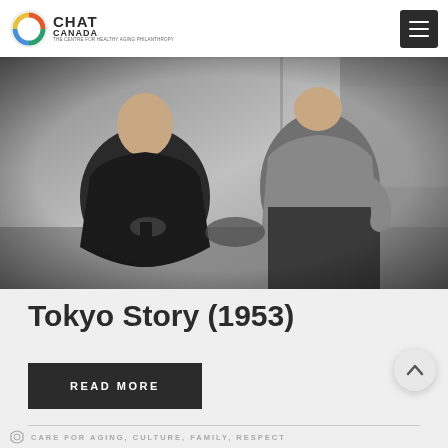CHAT CANADA - THE CENTRE FOR HEALTHY AGING PHILANTHROPY
[Figure (photo): Black and white photo of two people sitting cross-legged on the floor in traditional Japanese style, facing each other]
Tokyo Story (1953)
READ MORE
CARE FOR AGING, CULTURE, FAMILY, RESPECT